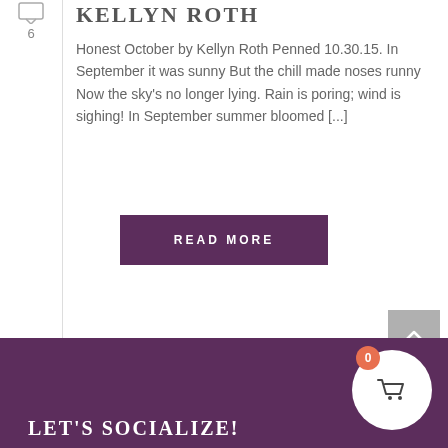[Figure (other): Comment icon with count 6]
KELLYN ROTH
Honest October by Kellyn Roth Penned 10.30.15. In September it was sunny But the chill made noses runny Now the sky's no longer lying. Rain is poring; wind is sighing! In September summer bloomed [...]
READ MORE
[Figure (other): Scroll-to-top button with upward arrow on gray background]
LET'S SOCIALIZE!
[Figure (other): Shopping cart circle icon with badge showing 0]